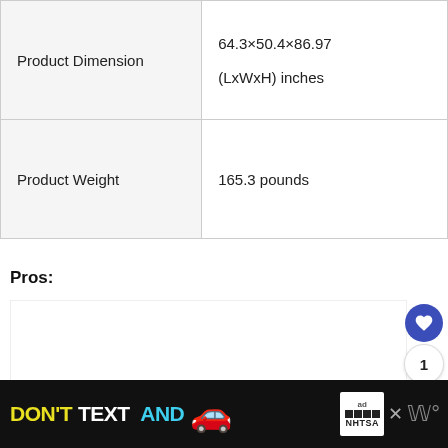| Product Dimension | 64.3×50.4×86.97
(LxWxH) inches |
| Product Weight | 165.3 pounds |
Pros:
[Figure (screenshot): White content area below Pros section with social interaction buttons: heart/like button (blue circle), count showing 1, and share button on the right side]